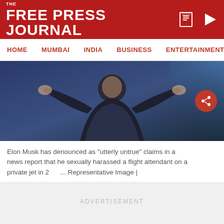THE FREE PRESS JOURNAL
[Figure (screenshot): Navigation bar with menu items: HOME, MUMBAI, INDIA, BUSINESS, ENTERTAINMENT, SPO]
[Figure (photo): Person in dark denim jacket with hands raised, blurred background]
Elon Musk has denounced as "utterly untrue" claims in a news report that he sexually harassed a flight attendant on a private jet in 20... Representative Image |
ADVERTISEMENT